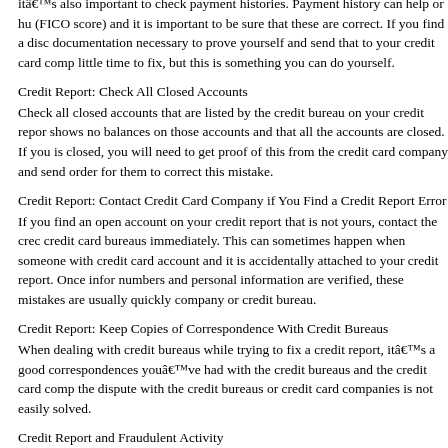itâ€™s also important to check payment histories. Payment history can help or hurt (FICO score) and it is important to be sure that these are correct. If you find a discrepancy, get documentation necessary to prove yourself and send that to your credit card company. This may take a little time to fix, but this is something you can do yourself.
Credit Report: Check All Closed Accounts
Check all closed accounts that are listed by the credit bureau on your credit report. Make sure it shows no balances on those accounts and that all the accounts are closed. If you find an account that is closed, you will need to get proof of this from the credit card company and send it to the bureau in order for them to correct this mistake.
Credit Report: Contact Credit Card Company if You Find a Credit Report Error
If you find an open account on your credit report that is not yours, contact the credit card company and credit card bureaus immediately. This can sometimes happen when someone with a similar name opens a credit card account and it is accidentally attached to your credit report. Once information such as account numbers and personal information are verified, these mistakes are usually quickly corrected by the credit card company or credit bureau.
Credit Report: Keep Copies of Correspondence With Credit Bureaus
When dealing with credit bureaus while trying to fix a credit report, itâ€™s a good idea to keep copies of all correspondences youâ€™ve had with the credit bureaus and the credit card companies in case the dispute with the credit bureaus or credit card companies is not easily solved.
Credit Report and Fraudulent Activity
If you find evidence of fraudulent activity or identity theft on your credit report, itâ€™s important to contact a lawyer or law enforcement official immediately, as well as to let the reporting credit bureau